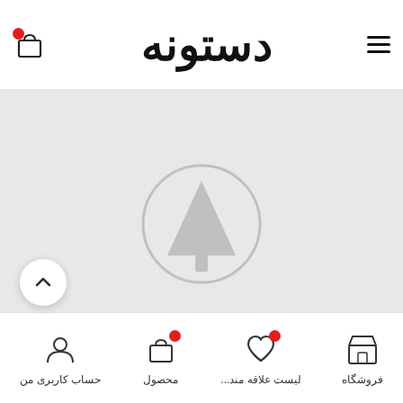دستونه - header with cart icon, logo, and hamburger menu
[Figure (screenshot): Gray placeholder area with a circular tree/navigation icon in the center, representing a map or image loading state]
[Figure (other): White circular scroll-to-top button with an upward chevron arrow]
Bottom navigation bar with four items: فروشگاه (store), لیست علاقه مند... (wishlist with badge), محصول (product with badge), حساب کاربری من (my account)